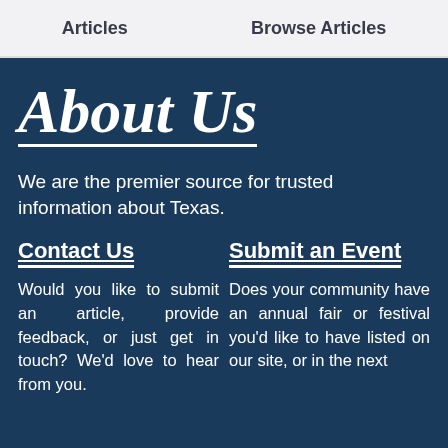Articles   Browse Articles
About Us
We are the premier source for trusted information about Texas.
Contact Us
Would you like to submit an article, provide feedback, or just get in touch? We'd love to hear from you.
Submit an Event
Does your community have an annual fair or festival you'd like to have listed on our site, or in the next